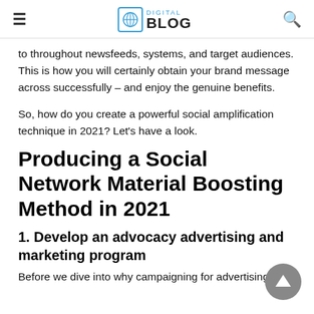DIGITAL BLOG
to throughout newsfeeds, systems, and target audiences. This is how you will certainly obtain your brand message across successfully – and enjoy the genuine benefits.

So, how do you create a powerful social amplification technique in 2021? Let's have a look.
Producing a Social Network Material Boosting Method in 2021
1. Develop an advocacy advertising and marketing program
Before we dive into why campaigning for advertising and